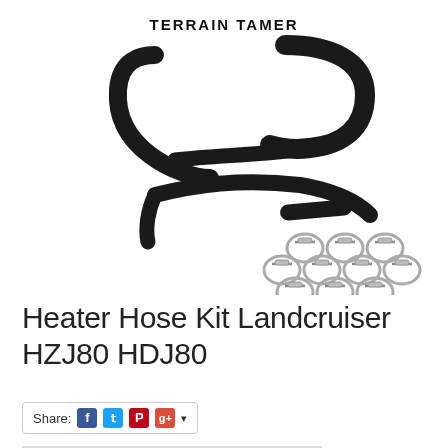[Figure (photo): Product photo of Terrain Tamer Heater Hose Kit for Landcruiser HZJ80 HDJ80, showing multiple black rubber hoses of various sizes and approximately 10 stainless steel hose clamps, with the Terrain Tamer logo/brand name visible at the top of the image.]
Heater Hose Kit Landcruiser HZJ80 HDJ80
Share: [Facebook] [Twitter] [Pinterest] [Google+] ▾